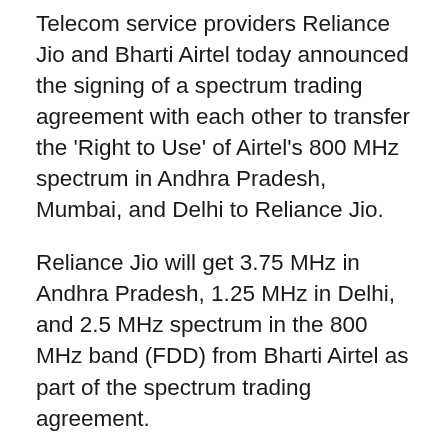Telecom service providers Reliance Jio and Bharti Airtel today announced the signing of a spectrum trading agreement with each other to transfer the 'Right to Use' of Airtel's 800 MHz spectrum in Andhra Pradesh, Mumbai, and Delhi to Reliance Jio.
Reliance Jio will get 3.75 MHz in Andhra Pradesh, 1.25 MHz in Delhi, and 2.5 MHz spectrum in the 800 MHz band (FDD) from Bharti Airtel as part of the spectrum trading agreement.
| Circle | 800 MHz band (FDD) |
| --- | --- |
| Andhra Pradesh | 3.75 |